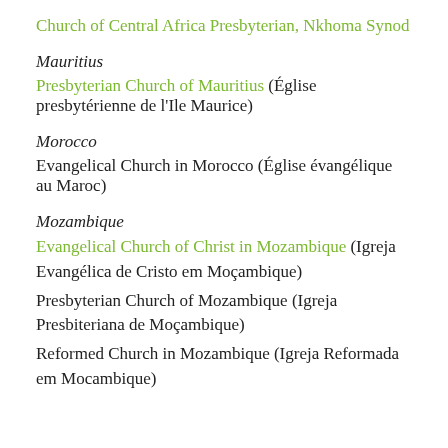Church of Central Africa Presbyterian, Nkhoma Synod
Mauritius
Presbyterian Church of Mauritius (Église presbytérienne de l'Ile Maurice)
Morocco
Evangelical Church in Morocco (Église évangélique au Maroc)
Mozambique
Evangelical Church of Christ in Mozambique (Igreja Evangélica de Cristo em Moçambique)
Presbyterian Church of Mozambique (Igreja Presbiteriana de Moçambique)
Reformed Church in Mozambique (Igreja Reformada em Mocambique)